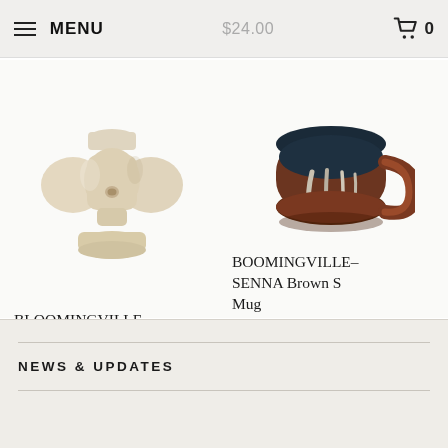MENU  $24.00  0
[Figure (photo): Bloomingville Ngoie Vase - a ceramic vase with sculptural organic shape in sandy beige color with a round hole in the middle body]
BLOOMINGVILLE - Ngoie Vase
$19.95
[Figure (photo): Boomingville SENNA Brown S Mug - a round ceramic mug with dark brown and teal drip glaze with a looped handle]
BOOMINGVILLE - SENNA Brown S Mug
$25.95
NEWS & UPDATES